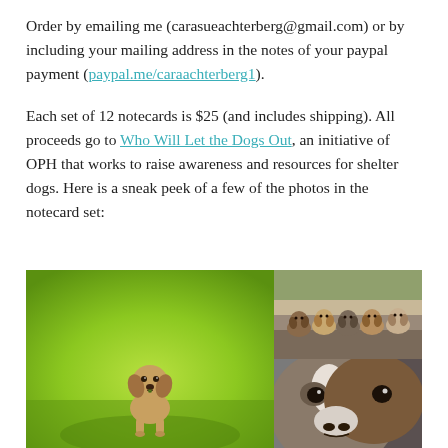Order by emailing me (carasueachterberg@gmail.com) or by including your mailing address in the notes of your paypal payment (paypal.me/caraachterberg1).
Each set of 12 notecards is $25 (and includes shipping). All proceeds go to Who Will Let the Dogs Out, an initiative of OPH that works to raise awareness and resources for shelter dogs. Here is a sneak peek of a few of the photos in the notecard set:
[Figure (photo): Three dog photos arranged in a collage: a large photo on the left of a small tan puppy sitting on green grass, top right shows a group of puppies sitting on steps, bottom right shows a close-up of a dog's face with white and brown markings.]